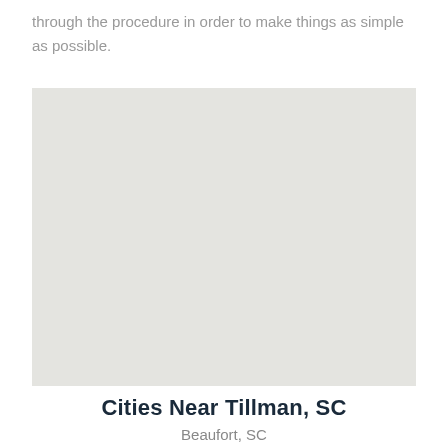through the procedure in order to make things as simple as possible.
[Figure (map): A blank light gray map placeholder representing the area near Tillman, SC]
Cities Near Tillman, SC
Beaufort, SC